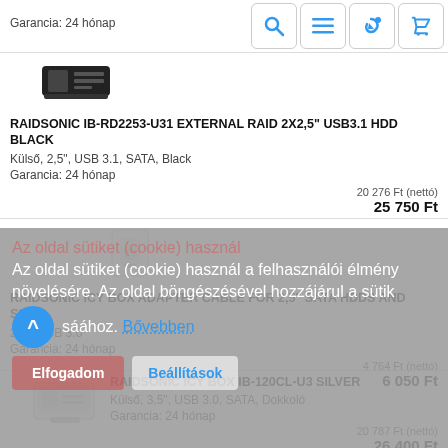Garancia: 24 hónap
[Figure (photo): Black external HDD RAID enclosure device image]
RAIDSONIC IB-RD2253-U31 EXTERNAL RAID 2X2,5" USB3.1 HDD BLACK
Külső, 2,5", USB 3.1, SATA, Black
Garancia: 24 hónap
20 276 Ft (nettó)
25 750 Ft
[Figure (photo): White USB 3.0 adapter cable for 2.5" SATA HDDs]
RAIDSONIC ICY BOX ADAPTER CABLE FOR 2,5" SATA HDDS AND SSDS
2,5", USB 3.0
Garancia: 24 hónap
4 764 Ft (nettó)
6 050 Ft
[Figure (photo): Silver ICY BOX docking station image]
RAIDSONIC ICY BOX IB-120CL-U3 SILVER
Külső, 3,5", USB 3.0, SATA, Dokkoló
Garancia: 24 hónap
20 787 Ft (nettó)
26 400 Ft
Az oldal sütiket (cookie) használ a felhasználói élmény növelésére. Az oldal böngészésével hozzájárul a sütik használatához. Bővebben